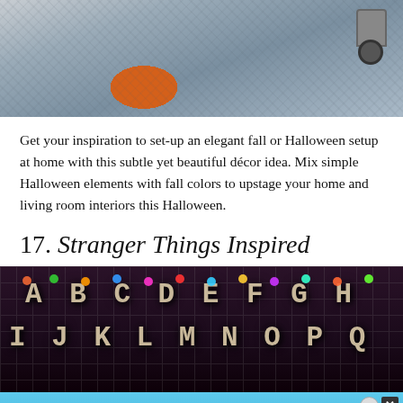[Figure (photo): Top portion of a cozy home interior showing a grey knitted/braided rug or blanket with an orange pillow and furniture casters visible]
Get your inspiration to set-up an elegant fall or Halloween setup at home with this subtle yet beautiful décor idea. Mix simple Halloween elements with fall colors to upstage your home and living room interiors this Halloween.
17. Stranger Things Inspired
[Figure (photo): Dark room decorated in Stranger Things style with colorful Christmas lights strung across the wall and hand-written alphabet letters (A B C D E F G H on first line, I J K L M N O P Q on second line)]
[Figure (infographic): BitLife advertisement banner: NOW WITH GOD MODE, showing cartoon hand with thumbs up and close/question mark buttons]